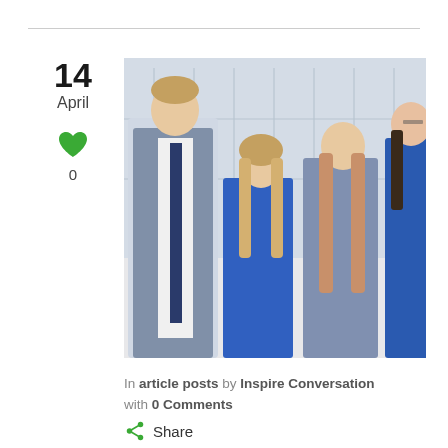14
April
[Figure (photo): Group photo of four young people (a teenage boy in a suit and tie, two younger girls in blue dresses, and a teenage girl in blue) standing together indoors in front of large windows with a city skyline visible.]
In article posts by Inspire Conversation with 0 Comments
Share